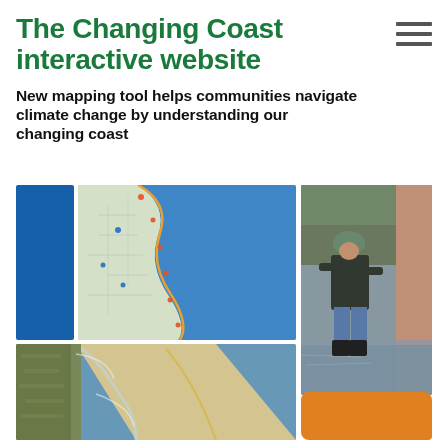The Changing Coast interactive website
New mapping tool helps communities navigate climate change by understanding our changing coast
[Figure (photo): Collage of five images: a solid blue rectangle, a coastal map screenshot, a crowded beach photo, an aerial beach/shoreline photo, a man walking through flood water, and an orange rounded rectangle element.]